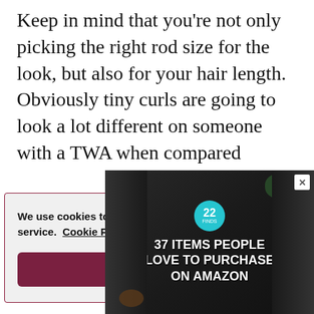Keep in mind that you're not only picking the right rod size for the look, but also for your hair length. Obviously tiny curls are going to look a lot different on someone with a TWA when compared
We use cookies to optimize our website and our service.  Cookie Policy - Privacy Statement

Accept
[Figure (other): Advertisement banner showing kitchen knives with text '37 ITEMS PEOPLE LOVE TO PURCHASE ON AMAZON' and a teal badge with the number 22]